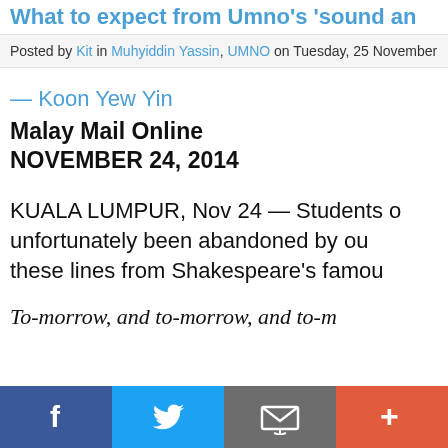What to expect from Umno's 'sound and…
Posted by Kit in Muhyiddin Yassin, UMNO on Tuesday, 25 November…
— Koon Yew Yin
Malay Mail Online
NOVEMBER 24, 2014
KUALA LUMPUR, Nov 24 — Students o… unfortunately been abandoned by ou… these lines from Shakespeare's famou…
To-morrow, and to-morrow, and to-m…
[Figure (other): Social media sharing bar with Facebook, Twitter, email, and plus buttons]